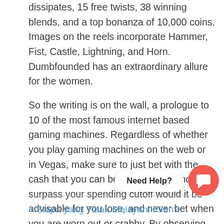dissipates, 15 free twists, 38 winning blends, and a top bonanza of 10,000 coins. Images on the reels incorporate Hammer, Fist, Castle, Lightning, and Horn. Dumbfounded has an extraordinary allure for the women.
So the writing is on the wall, a prologue to 10 of the most famous internet based gaming machines. Regardless of whether you play gaming machines on the web or in Vegas, make sure to just bet with the cash that you can bear to lose. Try not to surpass your spending cutoff would it be advisable for you lose, and never bet when you are worn out or crabby. By observing these basic guidelines of betting, your gambling club insight – on the web or at a land-based club – will be more agreeable
[Figure (other): Chat support widget showing 'Need Help?' text button with orange circular chat icon]
« Siapa yang Tidak Melayani Klien?